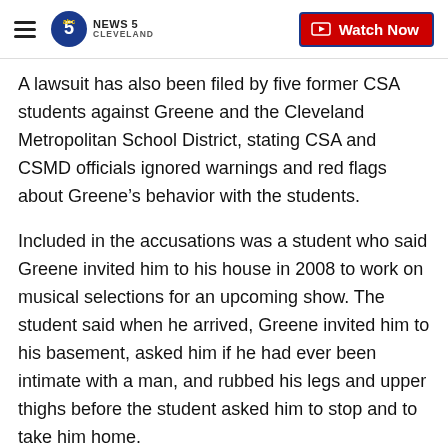News 5 Cleveland — Watch Now
A lawsuit has also been filed by five former CSA students against Greene and the Cleveland Metropolitan School District, stating CSA and CSMD officials ignored warnings and red flags about Greene’s behavior with the students.
Included in the accusations was a student who said Greene invited him to his house in 2008 to work on musical selections for an upcoming show. The student said when he arrived, Greene invited him to his basement, asked him if he had ever been intimate with a man, and rubbed his legs and upper thighs before the student asked him to stop and to take him home.
Greene had previously been charged with four counts